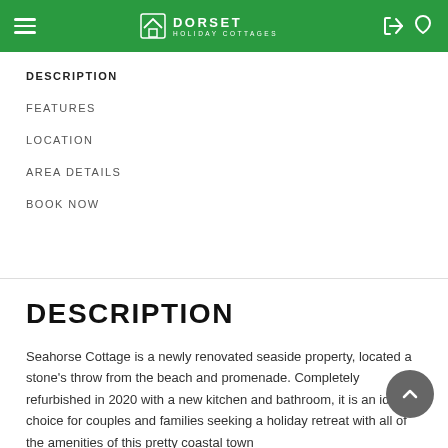Dorset Holiday Cottages
DESCRIPTION
FEATURES
LOCATION
AREA DETAILS
BOOK NOW
DESCRIPTION
Seahorse Cottage is a newly renovated seaside property, located a stone's throw from the beach and promenade. Completely refurbished in 2020 with a new kitchen and bathroom, it is an ideal choice for couples and families seeking a holiday retreat with all of the amenities of this pretty coastal town